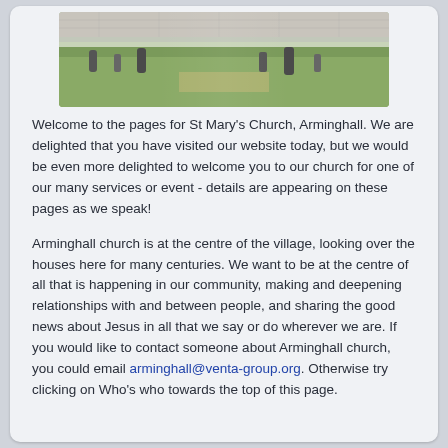[Figure (photo): Photograph of a churchyard with gravestones and grass, stone church building visible in background]
Welcome to the pages for St Mary's Church, Arminghall. We are delighted that you have visited our website today, but we would be even more delighted to welcome you to our church for one of our many services or event - details are appearing on these pages as we speak!
Arminghall church is at the centre of the village, looking over the houses here for many centuries. We want to be at the centre of all that is happening in our community, making and deepening relationships with and between people, and sharing the good news about Jesus in all that we say or do wherever we are. If you would like to contact someone about Arminghall church, you could email arminghall@venta-group.org. Otherwise try clicking on Who's who towards the top of this page.